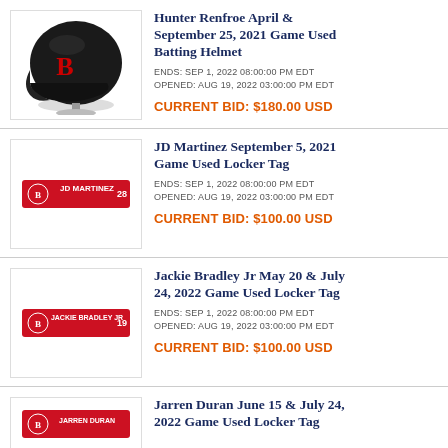[Figure (photo): Black Boston Red Sox batting helmet on a stand]
Hunter Renfroe April & September 25, 2021 Game Used Batting Helmet
ENDS: SEP 1, 2022 08:00:00 PM EDT
OPENED: AUG 19, 2022 03:00:00 PM EDT
CURRENT BID: $180.00 USD
[Figure (photo): JD Martinez red locker tag nameplate]
JD Martinez September 5, 2021 Game Used Locker Tag
ENDS: SEP 1, 2022 08:00:00 PM EDT
OPENED: AUG 19, 2022 03:00:00 PM EDT
CURRENT BID: $100.00 USD
[Figure (photo): Jackie Bradley Jr red locker tag nameplate]
Jackie Bradley Jr May 20 & July 24, 2022 Game Used Locker Tag
ENDS: SEP 1, 2022 08:00:00 PM EDT
OPENED: AUG 19, 2022 03:00:00 PM EDT
CURRENT BID: $100.00 USD
Jarren Duran June 15 & July 24, 2022 Game Used Locker Tag